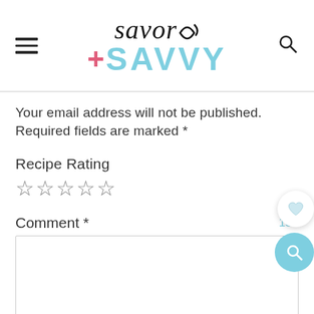[Figure (logo): Savor+Savvy logo with hamburger menu icon on left and search icon on right]
Your email address will not be published.
Required fields are marked *
Recipe Rating
☆☆☆☆☆
Comment *
155